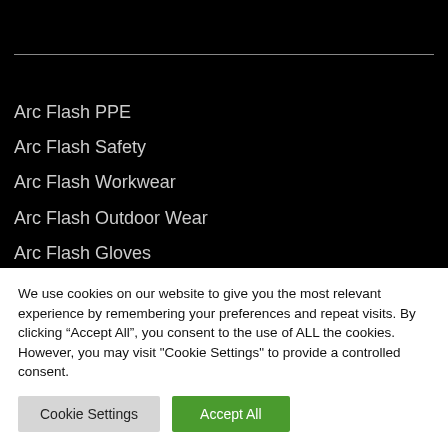Arc Flash PPE
Arc Flash Safety
Arc Flash Workwear
Arc Flash Outdoor Wear
Arc Flash Gloves
Arc Flash Helmets & Visors
We use cookies on our website to give you the most relevant experience by remembering your preferences and repeat visits. By clicking “Accept All”, you consent to the use of ALL the cookies. However, you may visit "Cookie Settings" to provide a controlled consent.
Cookie Settings | Accept All